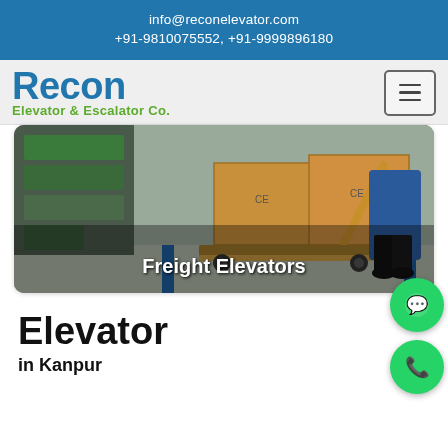info@reconelevator.com
+91-9810075552, +91-9999896180
[Figure (logo): Recon Elevator & Escalator Co. logo with blue Recon text and green tagline]
[Figure (photo): Freight Elevators promotional image showing a warehouse worker using a pallet jack with large cardboard boxes, with overlay text 'Freight Elevators']
Elevator
in Kanpur